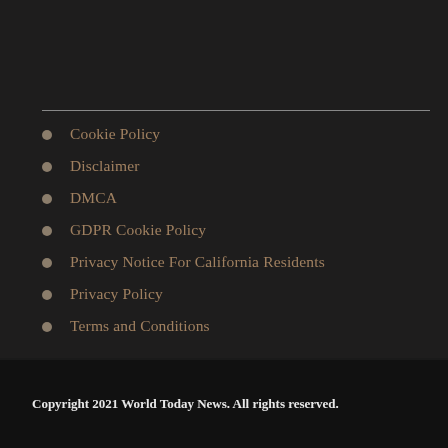Cookie Policy
Disclaimer
DMCA
GDPR Cookie Policy
Privacy Notice For California Residents
Privacy Policy
Terms and Conditions
Copyright 2021 World Today News. All rights reserved.